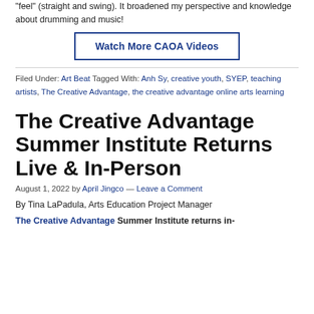"feel" (straight and swing). It broadened my perspective and knowledge about drumming and music!
[Figure (other): Button/link box with text 'Watch More CAOA Videos' in bold blue, outlined with a blue border rectangle.]
Filed Under: Art Beat Tagged With: Anh Sy, creative youth, SYEP, teaching artists, The Creative Advantage, the creative advantage online arts learning
The Creative Advantage Summer Institute Returns Live & In-Person
August 1, 2022 by April Jingco — Leave a Comment
By Tina LaPadula, Arts Education Project Manager
The Creative Advantage Summer Institute returns in-